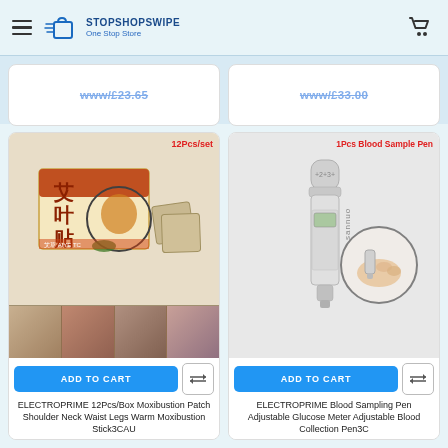STOPSHOPSWIPE — One Stop Store
[Figure (screenshot): Partial product card showing a price with strikethrough on left]
[Figure (screenshot): Partial product card showing a price with strikethrough on right]
[Figure (photo): Product image: 12Pcs/set moxibustion patch box with patches shown, and strip of body pain area photos below. Badge: 12Pcs/set]
ADD TO CART
ELECTROPRIME 12Pcs/Box Moxibustion Patch Shoulder Neck Waist Legs Warm Moxibustion Stick3CAU
[Figure (photo): Product image: 1Pcs Blood Sample Pen (Sannuo brand lancing device) with inset close-up circle. Badge: 1Pcs Blood Sample Pen]
ADD TO CART
ELECTROPRIME Blood Sampling Pen Adjustable Glucose Meter Adjustable Blood Collection Pen3C